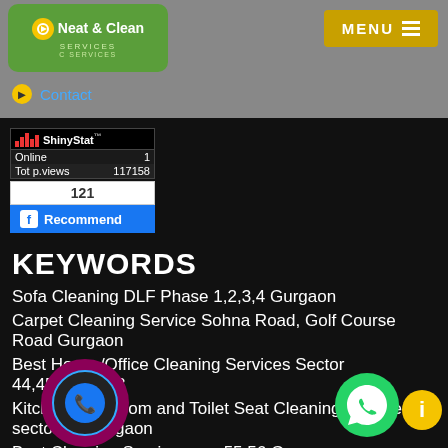[Figure (logo): Neat & Clean Services logo - green rounded rectangle with circular icon]
[Figure (screenshot): MENU button - gold/yellow background with white text and hamburger icon]
Contact
[Figure (screenshot): ShinyStat analytics widget showing Online: 1, Tot p.views: 117158]
[Figure (screenshot): Facebook Recommend button showing count 121]
KEYWORDS
Sofa Cleaning DLF Phase 1,2,3,4 Gurgaon
Carpet Cleaning Service Sohna Road, Golf Course Road Gurgaon
Best House/Office Cleaning Services Sector 44,45,46,47,48
Kitchen, Bathroom and Toilet Seat Cleaning Service sector 49 Gurgaon
Best Cleaning Services sec 55,56 Gurgaon
Floor Cleaning MG Road Gurgaon